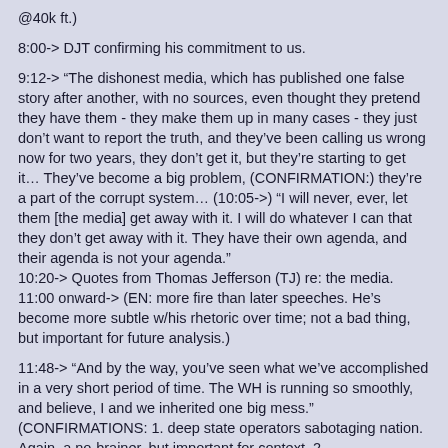@40k ft.)
8:00-> DJT confirming his commitment to us.
9:12-> “The dishonest media, which has published one false story after another, with no sources, even thought they pretend they have them - they make them up in many cases - they just don’t want to report the truth, and they’ve been calling us wrong now for two years, they don’t get it, but they’re starting to get it… They’ve become a big problem, (CONFIRMATION:) they’re a part of the corrupt system… (10:05->) “I will never, ever, let them [the media] get away with it. I will do whatever I can that they don’t get away with it. They have their own agenda, and their agenda is not your agenda.”
10:20-> Quotes from Thomas Jefferson (TJ) re: the media.
11:00 onward-> (EN: more fire than later speeches. He’s become more subtle w/his rhetoric over time; not a bad thing, but important for future analysis.)
11:48-> “And by the way, you’ve seen what we’ve accomplished in a very short period of time. The WH is running so smoothly, and believe, I and we inherited one big mess.” (CONFIRMATIONS: 1. deep state operators sabotaging nation. Again, a no-brainer, but important for context. 2. highlighting/countering fake news of chaos in WH Admin.)
(EN: Mostly sticking to the script. DJT repeats his rhetoric/branding very well, but there is a distinct change in